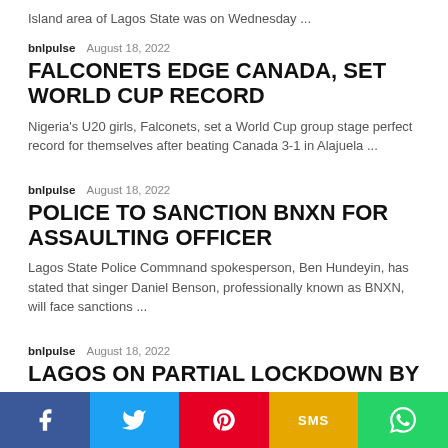Island area of Lagos State was on Wednesday ...
bnlpulse   August 18, 2022
FALCONETS EDGE CANADA, SET WORLD CUP RECORD
Nigeria's U20 girls, Falconets, set a World Cup group stage perfect record for themselves after beating Canada 3-1 in Alajuela ...
bnlpulse   August 18, 2022
POLICE TO SANCTION BNXN FOR ASSAULTING OFFICER
Lagos State Police Commnand spokesperson, Ben Hundeyin, has stated that singer Daniel Benson, professionally known as BNXN, will face sanctions ...
bnlpulse   August 18, 2022
LAGOS ON PARTIAL LOCKDOWN BY
f  Twitter  Pinterest  SMS  WhatsApp